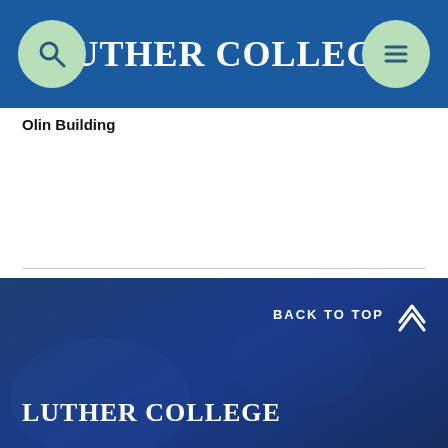Luther College
Olin Building
Previous | Today | Next
+ Export Events
BACK TO TOP | Luther College